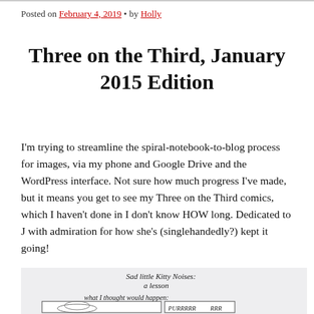Posted on February 4, 2019 • by Holly
Three on the Third, January 2015 Edition
I'm trying to streamline the spiral-notebook-to-blog process for images, via my phone and Google Drive and the WordPress interface. Not sure how much progress I've made, but it means you get to see my Three on the Third comics, which I haven't done in I don't know HOW long. Dedicated to J with admiration for how she's (singlehandedly?) kept it going!
[Figure (illustration): Hand-drawn comic strip titled 'Sad little Kitty Noises: a lesson' showing 'what I thought would happen:' with a drawing of a cat and the text 'PURRRRRRR']